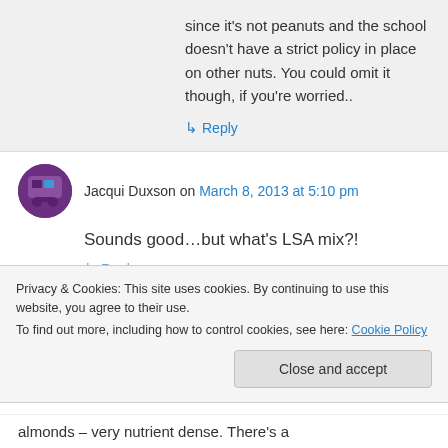since it's not peanuts and the school doesn't have a strict policy in place on other nuts. You could omit it though, if you're worried..
↳ Reply
Jacqui Duxson on March 8, 2013 at 5:10 pm
Sounds good…but what's LSA mix?!
Privacy & Cookies: This site uses cookies. By continuing to use this website, you agree to their use.
To find out more, including how to control cookies, see here: Cookie Policy
Close and accept
almonds – very nutrient dense. There's a